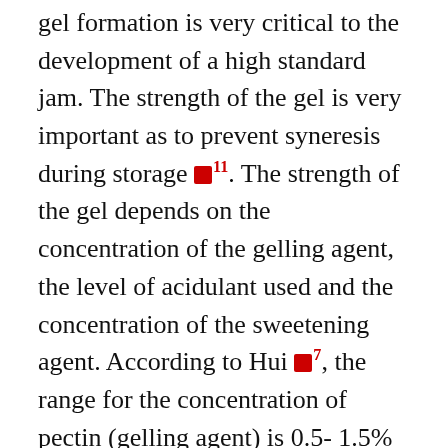gel formation is very critical to the development of a high standard jam. The strength of the gel is very important as to prevent syneresis during storage [11]. The strength of the gel depends on the concentration of the gelling agent, the level of acidulant used and the concentration of the sweetening agent. According to Hui [7], the range for the concentration of pectin (gelling agent) is 0.5- 1.5% and an optimum of 1%, acidity ranging from 2.7 – 3.6 with an optimum pH value of 3.0 whilst the concentration of the sugar (sweetening agent) ranges from 64 – 71% with an optimum value of 67.5% [12].
Processing of jams requires attention to the